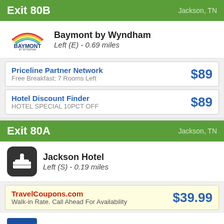Exit 80B — Jackson, TN
Baymont by Wyndham — Left (E) - 0.69 miles
Priceline Partner Network — Free Breakfast; 7 Rooms Left — $89
Hotel Discount Finder — HOTEL SPECIAL 10PCT OFF — $89
Exit 80A — Jackson, TN
Jackson Hotel — Left (S) - 0.19 miles
TravelCoupons.com — Walk-in Rate. Call Ahead For Availability — $39.99
Motel 6